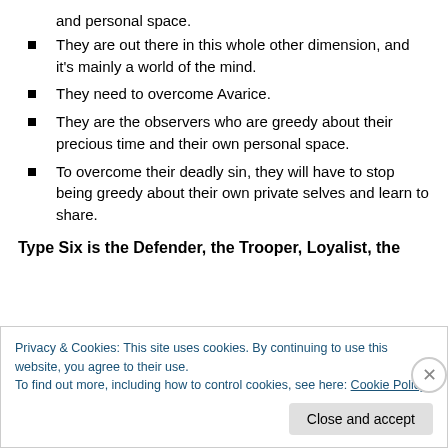and personal space.
They are out there in this whole other dimension, and it's mainly a world of the mind.
They need to overcome Avarice.
They are the observers who are greedy about their precious time and their own personal space.
To overcome their deadly sin, they will have to stop being greedy about their own private selves and learn to share.
Type Six is the Defender, the Trooper, Loyalist, the
Privacy & Cookies: This site uses cookies. By continuing to use this website, you agree to their use.
To find out more, including how to control cookies, see here: Cookie Policy